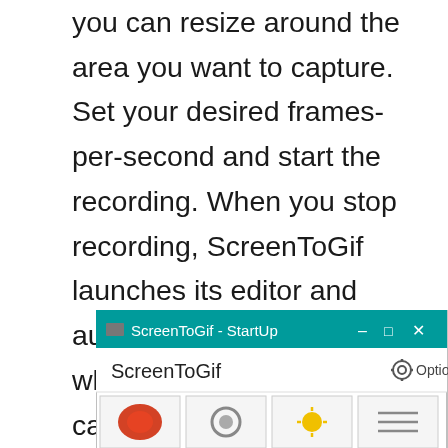you can resize around the area you want to capture. Set your desired frames-per-second and start the recording. When you stop recording, ScreenToGif launches its editor and automatically loads whatever it is you just captured. You can do all the editing and save the file.
[Figure (screenshot): Screenshot of ScreenToGif - StartUp application window showing the app title bar in teal, the ScreenToGif logo and name, an Options button with gear icon, and a row of four thumbnail icons partially visible at the bottom.]